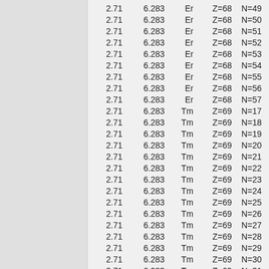| 2.71 | 6.283 | Er | Z=68 | N=49 |
| 2.71 | 6.283 | Er | Z=68 | N=50 |
| 2.71 | 6.283 | Er | Z=68 | N=51 |
| 2.71 | 6.283 | Er | Z=68 | N=52 |
| 2.71 | 6.283 | Er | Z=68 | N=53 |
| 2.71 | 6.283 | Er | Z=68 | N=54 |
| 2.71 | 6.283 | Er | Z=68 | N=55 |
| 2.71 | 6.283 | Er | Z=68 | N=56 |
| 2.71 | 6.283 | Er | Z=68 | N=57 |
| 2.71 | 6.283 | Tm | Z=69 | N=17 |
| 2.71 | 6.283 | Tm | Z=69 | N=18 |
| 2.71 | 6.283 | Tm | Z=69 | N=19 |
| 2.71 | 6.283 | Tm | Z=69 | N=20 |
| 2.71 | 6.283 | Tm | Z=69 | N=21 |
| 2.71 | 6.283 | Tm | Z=69 | N=22 |
| 2.71 | 6.283 | Tm | Z=69 | N=23 |
| 2.71 | 6.283 | Tm | Z=69 | N=24 |
| 2.71 | 6.283 | Tm | Z=69 | N=25 |
| 2.71 | 6.283 | Tm | Z=69 | N=26 |
| 2.71 | 6.283 | Tm | Z=69 | N=27 |
| 2.71 | 6.283 | Tm | Z=69 | N=28 |
| 2.71 | 6.283 | Tm | Z=69 | N=29 |
| 2.71 | 6.283 | Tm | Z=69 | N=30 |
| 2.71 | 6.283 | Tm | Z=69 | N=31 |
| 2.71 | 6.283 | Tm | Z=69 | N=32 |